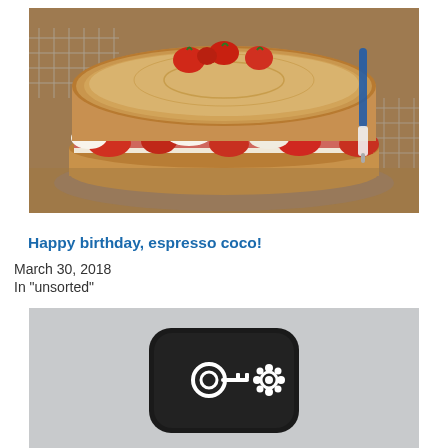[Figure (photo): A strawberry layer cake with powdered sugar on top and cream and strawberry filling visible between layers, sitting on a wire cooling rack. A pen or marker is visible in the background.]
Happy birthday, espresso coco!
March 30, 2018
In "unsorted"
[Figure (photo): A black device (appears to be a small electronic device or case) with a white key and gear/flower icon on it, on a grey background.]